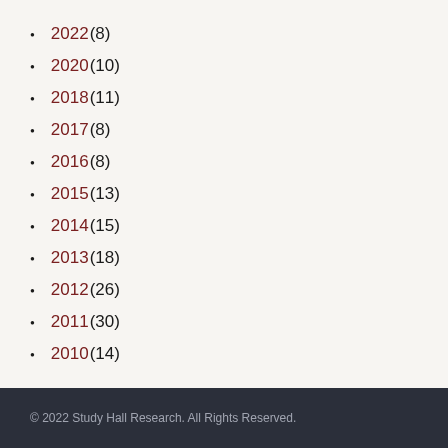2022 (8)
2020 (10)
2018 (11)
2017 (8)
2016 (8)
2015 (13)
2014 (15)
2013 (18)
2012 (26)
2011 (30)
2010 (14)
© 2022 Study Hall Research. All Rights Reserved.